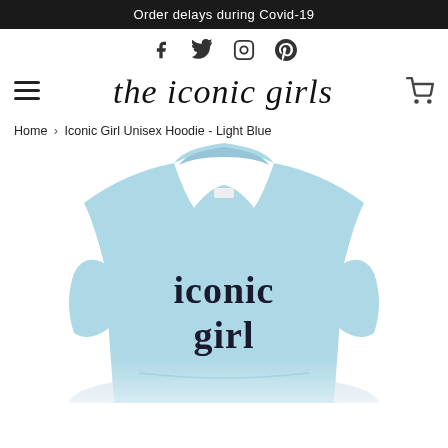Order delays during Covid-19
[Figure (other): Social media icons: Facebook, Twitter, Instagram, Pinterest]
[Figure (logo): The Iconic Girls logo in cursive script with hamburger menu and cart icon]
Home › Iconic Girl Unisex Hoodie - Light Blue
[Figure (photo): Light blue unisex hoodie with 'iconic girl' text printed on it]